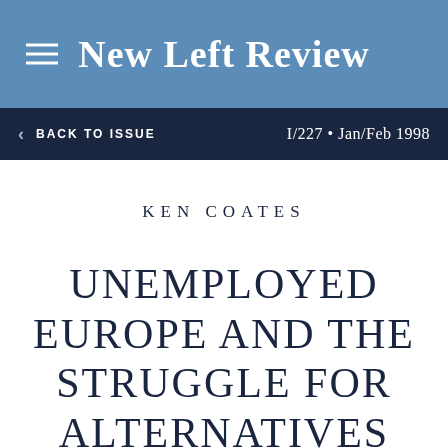New Left Review
BACK TO ISSUE  I/227 · Jan/Feb 1998
KEN COATES
UNEMPLOYED EUROPE AND THE STRUGGLE FOR ALTERNATIVES